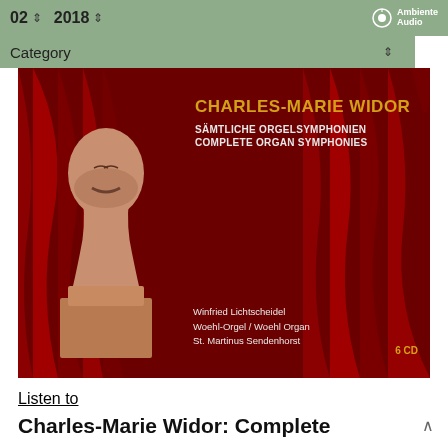02  ⬍  2018  ⬍   Ambiente Audio
Category  ⬍
[Figure (photo): Album cover for Charles-Marie Widor Complete Organ Symphonies on Ambiente Audio. Shows a terracotta bust sculpture of the composer against a red curtain background. Text reads: CHARLES-MARIE WIDOR / SÄMTLICHE ORGELSYMPHONIEN / COMPLETE ORGAN SYMPHONIES / Winfried Lichtscheidel / Woehl-Orgel / Woehl Organ / St. Martinus Sendenhorst / 6 CD]
Listen to
Charles-Marie Widor: Complete